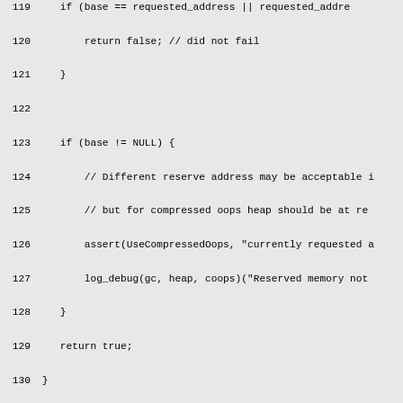[Figure (screenshot): Source code listing in monospace font on grey background, lines 119-149, showing C++ code for memory reservation and large pages logic]